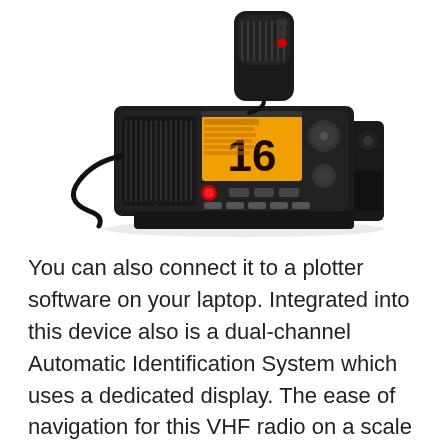[Figure (photo): A black marine VHF radio (Standard Horizon brand) with an orange channel display showing channel 16, mounted on a bracket, with a handheld microphone resting on top.]
You can also connect it to a plotter software on your laptop. Integrated into this device also is a dual-channel Automatic Identification System which uses a dedicated display. The ease of navigation for this VHF radio on a scale of one to ten is a ten. This is a